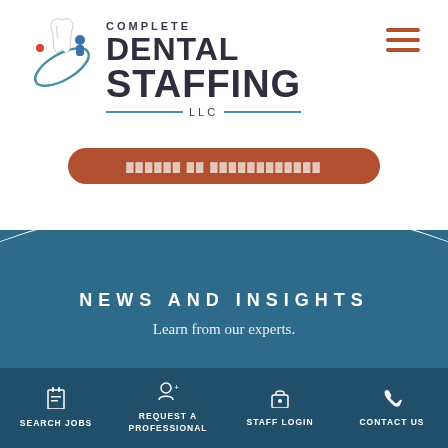[Figure (logo): Complete Dental Staffing LLC logo with tooth and swirl icon, company name in bold dark text]
[Figure (screenshot): Hamburger menu icon (three horizontal brown lines) in top right corner]
[Figure (screenshot): Brown rounded rectangle CTA button with white text (partially obscured)]
[Figure (illustration): Blue wave / arc shape forming a curved top on the teal-blue footer section]
NEWS AND INSIGHTS
Learn from our experts.
SEARCH JOBS
REQUEST A PROFESSIONAL
STAFF LOGIN
CONTACT US